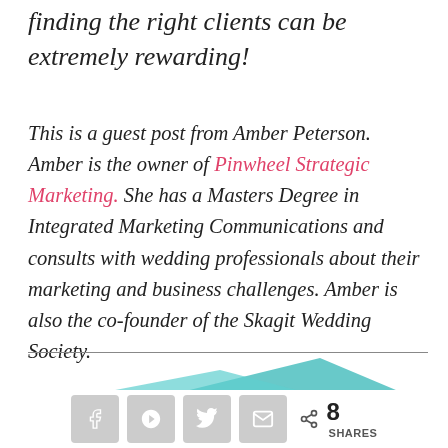finding the right clients can be extremely rewarding!
This is a guest post from Amber Peterson. Amber is the owner of Pinwheel Strategic Marketing. She has a Masters Degree in Integrated Marketing Communications and consults with wedding professionals about their marketing and business challenges. Amber is also the co-founder of the Skagit Wedding Society.
[Figure (other): Partial teal triangle shape visible at bottom of page, appears to be top of an infographic or decorative element]
[Figure (infographic): Social share bar with Facebook, Pinterest, Twitter, Email buttons and share count of 8 SHARES]